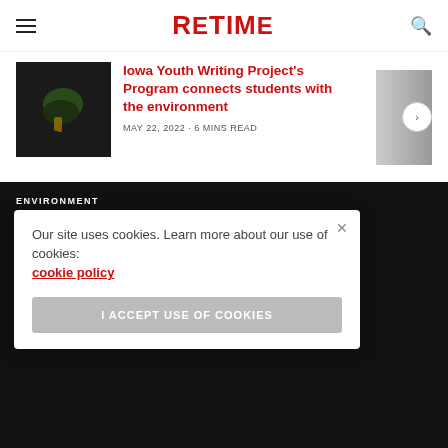RETIME
Iowa Youth Writing Project's Program connects students with the environment
MAY 22, 2022 · 6 MINS READ
ENVIRONMENT
Fast fashion: From poor ... tal ... e ... with industry
Our site uses cookies. Learn more about our use of cookies: cookie policy
I ACCEPT USE OF COOKIES